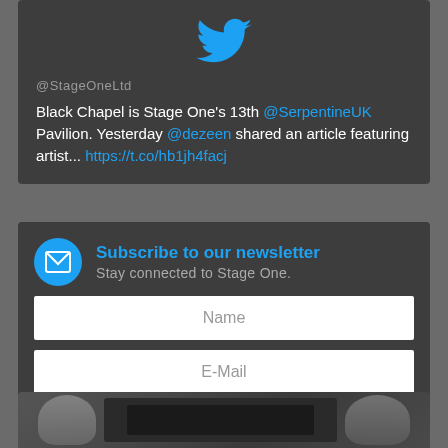[Figure (screenshot): Twitter bird logo icon in blue at top of tweet card]
@StageOneLtd
Black Chapel is Stage One's 13th @SerpentineUK Pavilion. Yesterday @dezeen shared an article featuring artist... https://t.co/hb1jh4facj
Subscribe to our newsletter
Stay connected to Stage One.
Name
E-Mail
Send
[Figure (photo): Two men standing in front of stage equipment and machinery in a workshop or production facility]